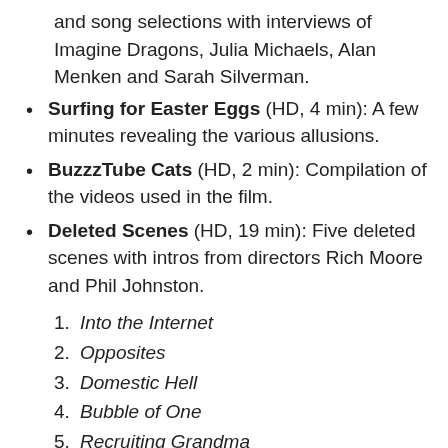and song selections with interviews of Imagine Dragons, Julia Michaels, Alan Menken and Sarah Silverman.
Surfing for Easter Eggs (HD, 4 min): A few minutes revealing the various allusions.
BuzzzTube Cats (HD, 2 min): Compilation of the videos used in the film.
Deleted Scenes (HD, 19 min): Five deleted scenes with intros from directors Rich Moore and Phil Johnston.
1. Into the Internet
2. Opposites
3. Domestic Hell
4. Bubble of One
5. Recruiting Grandma